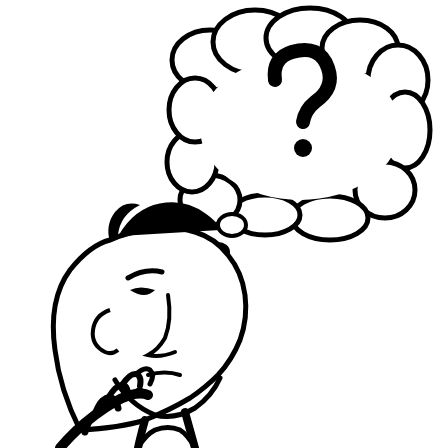[Figure (illustration): Black and white cartoon illustration of a man in a thoughtful pose, resting his chin on his hand and looking upward. Above his head is a thought bubble (cloud-shaped speech bubble) containing a large question mark.]